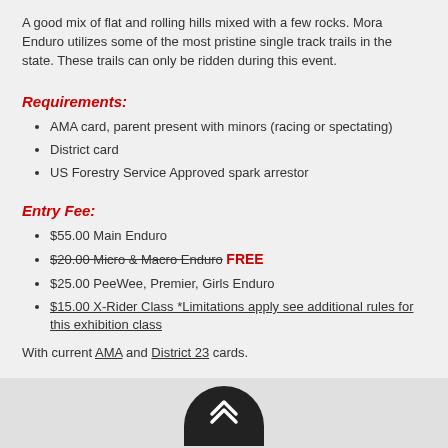A good mix of flat and rolling hills mixed with a few rocks. Mora Enduro utilizes some of the most pristine single track trails in the state. These trails can only be ridden during this event.
Requirements:
AMA card, parent present with minors (racing or spectating)
District card
US Forestry Service Approved spark arrestor
Entry Fee:
$55.00 Main Enduro
$20.00 Micro & Macro Enduro FREE
$25.00 PeeWee, Premier, Girls Enduro
$15.00 X-Rider Class *Limitations apply see additional rules for this exhibition class
With current AMA and District 23 cards.
Lodging Information:
Click HERE for lodging in the area.